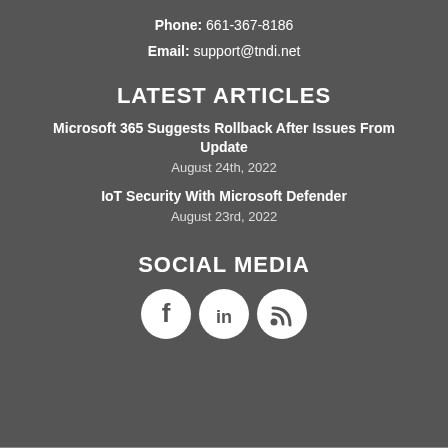Phone: 661-367-8186
Email: support@tndi.net
LATEST ARTICLES
Microsoft 365 Suggests Rollback After Issues From Update
August 24th, 2022
IoT Security With Microsoft Defender
August 23rd, 2022
SOCIAL MEDIA
[Figure (illustration): Three circular social media icons: Facebook (f), LinkedIn (in), RSS feed icon]